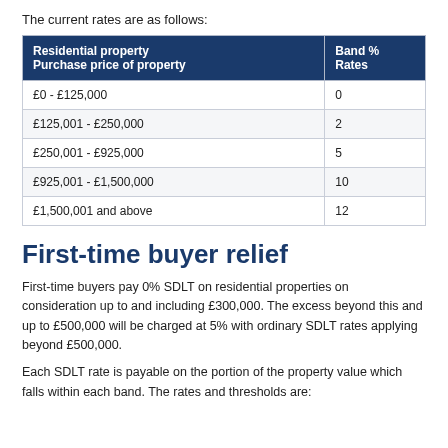The current rates are as follows:
| Residential property
Purchase price of property | Band %
Rates |
| --- | --- |
| £0 - £125,000 | 0 |
| £125,001 - £250,000 | 2 |
| £250,001 - £925,000 | 5 |
| £925,001 - £1,500,000 | 10 |
| £1,500,001 and above | 12 |
First-time buyer relief
First-time buyers pay 0% SDLT on residential properties on consideration up to and including £300,000. The excess beyond this and up to £500,000 will be charged at 5% with ordinary SDLT rates applying beyond £500,000.
Each SDLT rate is payable on the portion of the property value which falls within each band. The rates and thresholds are: